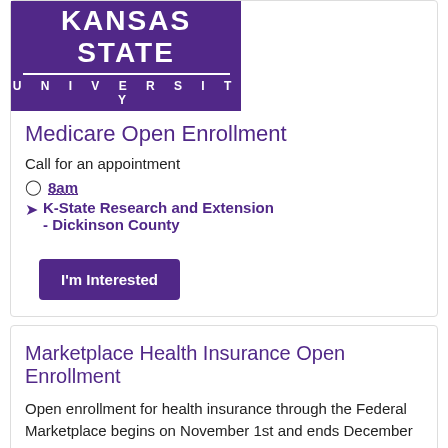[Figure (logo): Kansas State University logo — purple background with white text 'KANSAS STATE' and 'UNIVERSITY' in spaced capital letters]
Medicare Open Enrollment
Call for an appointment
8am
K-State Research and Extension - Dickinson County
I'm Interested
Marketplace Health Insurance Open Enrollment
Open enrollment for health insurance through the Federal Marketplace begins on November 1st and ends December